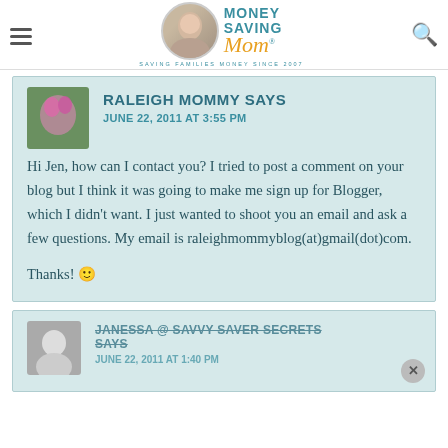[Figure (logo): Money Saving Mom logo with circular avatar photo, teal MONEY SAVING text, orange Mom script, and tagline SAVING FAMILIES MONEY SINCE 2007]
RALEIGH MOMMY SAYS
JUNE 22, 2011 AT 3:55 PM
Hi Jen, how can I contact you? I tried to post a comment on your blog but I think it was going to make me sign up for Blogger, which I didn't want. I just wanted to shoot you an email and ask a few questions. My email is raleighmommyblog(at)gmail(dot)com.

Thanks! 🙂
JANESSA @ SAVVY SAVER SECRETS SAYS